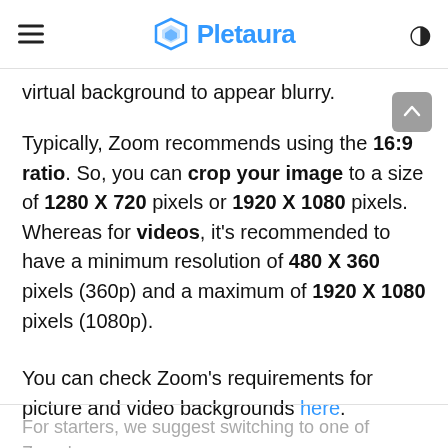Pletaura
virtual background to appear blurry.
Typically, Zoom recommends using the 16:9 ratio. So, you can crop your image to a size of 1280 X 720 pixels or 1920 X 1080 pixels. Whereas for videos, it's recommended to have a minimum resolution of 480 X 360 pixels (360p) and a maximum of 1920 X 1080 pixels (1080p).
You can check Zoom's requirements for picture and video backgrounds here.
For starters, we suggest switching to one of Zoom's